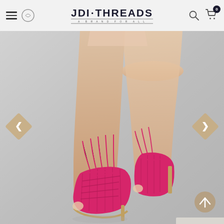JDI·THREADS — A Brand For All
[Figure (photo): Model's legs wearing hot pink suede lace-up fringe tassel stiletto heeled sandals with open toe and cutout perforated upper detail, on a gray background. Navigation arrows (left and right diamond-shaped buttons) flank the product image. A scroll-to-top circular button is visible in the bottom-right corner of the image.]